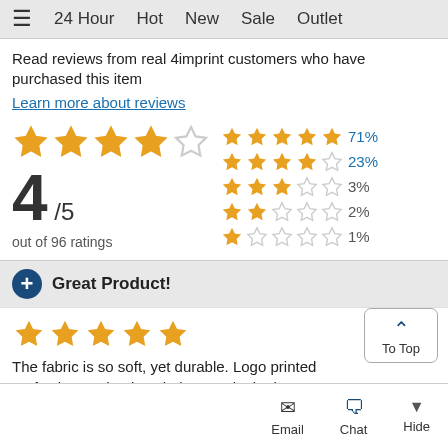☰  24 Hour  Hot  New  Sale  Outlet
Read reviews from real 4imprint customers who have purchased this item
Learn more about reviews
[Figure (other): 4 out of 5 stars rating with breakdown: 71% five stars, 23% four stars, 3% three stars, 2% two stars, 1% one star. Out of 96 ratings.]
Great Product!
The fabric is so soft, yet durable. Logo printed perfectly onto it. The whole team looked great
October 2017
Greg from Stevens Point